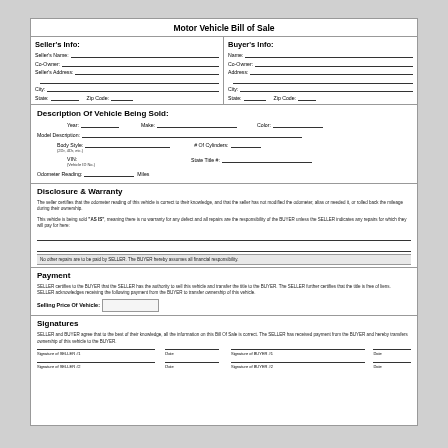Motor Vehicle Bill of Sale
| Seller's Info | Buyer's Info |
| --- | --- |
| Seller's Name: | Name: |
| Co-Owner: | Co-Owner: |
| Seller's Address: | Address: |
| City: | City: |
| State:    Zip Code: | State:    Zip Code: |
Description Of Vehicle Being Sold:
Year:     Make:     Color:     Model Description:     Body Style: (2Dr, 4Dr, etc.)    # Of Cylinders:     VIN: (Vehicle ID No.)    State Title #:     Odometer Reading:     Miles
Disclosure & Warranty
The seller certifies that the odometer reading of this vehicle is correct to their knowledge, and that the seller has not modified the odometer, alias or needed it, or rolled back the mileage during their ownership.
This vehicle is being sold "AS IS", meaning there is no warranty for any defect and all repairs are the responsibility of the BUYER unless the SELLER indicates any repairs for which they will pay for here:
No other repairs are to be paid by SELLER. The BUYER hereby assumes all financial responsibility.
Payment
SELLER certifies to the BUYER that the SELLER has the authority to sell this vehicle and transfer the title to the BUYER. The SELLER further certifies that the title is free of liens. SELLER acknowledges receiving the following payment from the BUYER to transfer ownership of this vehicle.
Selling Price Of Vehicle:
Signatures
SELLER and BUYER agree that to the best of their knowledge, all the information on this Bill Of Sale is correct. The SELLER has received payment from the BUYER and hereby transfers ownership of this vehicle to the BUYER.
Signature of SELLER #1    Date    Signature of BUYER #1    Date
Signature of SELLER #2    Date    Signature of BUYER #2    Date